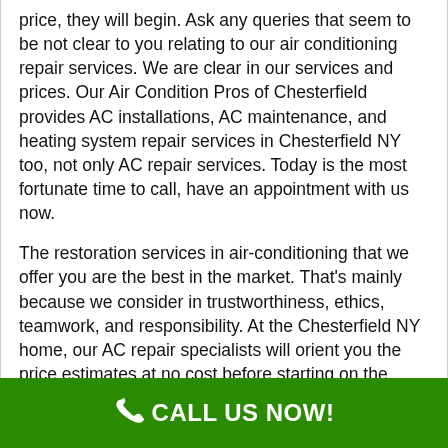price, they will begin. Ask any queries that seem to be not clear to you relating to our air conditioning repair services. We are clear in our services and prices. Our Air Condition Pros of Chesterfield provides AC installations, AC maintenance, and heating system repair services in Chesterfield NY too, not only AC repair services. Today is the most fortunate time to call, have an appointment with us now.
The restoration services in air-conditioning that we offer you are the best in the market. That's mainly because we consider in trustworthiness, ethics, teamwork, and responsibility. At the Chesterfield NY home, our AC repair specialists will orient you the price estimates at no cost before starting on the task. If you're more comfortable with the price, they will begin. Ask any queries that appear cloudy to you concerning our air conditioning repair services. We are transparent in our services and prices. AC installations services, heating maintenance and AC
CALL US NOW!